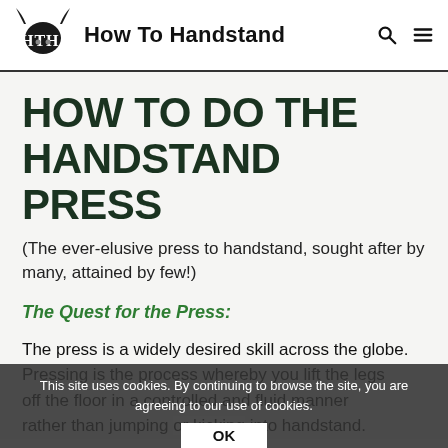How To Handstand
HOW TO DO THE HANDSTAND PRESS
(The ever-elusive press to handstand, sought after by many, attained by few!)
The Quest for the Press:
The press is a widely desired skill across the globe. Pressing is the process whereby you lift the legs off the floor in a controlled and fluid manner rather than jumping or kicking into handstand.
This site uses cookies. By continuing to browse the site, you are agreeing to our use of cookies.